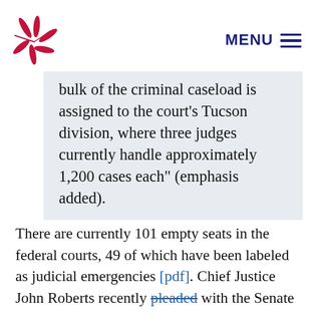MENU
bulk of the criminal caseload is assigned to the court's Tucson division, where three judges currently handle approximately 1,200 cases each" (emphasis added).
There are currently 101 empty seats in the federal courts, 49 of which have been labeled as judicial emergencies [pdf]. Chief Justice John Roberts recently pleaded with the Senate to stop holding up judicial nominees, saying their stalling had resulted in “acute difficulties for some judicial districts.” Justice Anthony Kennedy told the Los Angeles